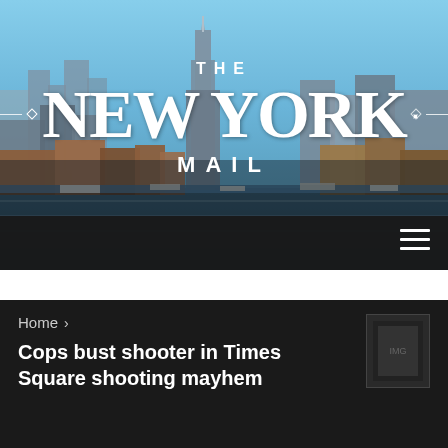[Figure (photo): New York City skyline with Empire State Building visible, waterfront with boats, clear blue sky. The New York Mail masthead overlaid in white text.]
THE NEW YORK MAIL
Home > Cops bust shooter in Times Square shooting mayhem